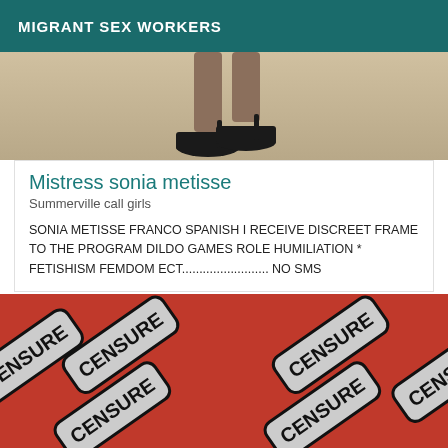MIGRANT SEX WORKERS
[Figure (photo): Partial view of legs wearing black high heeled shoes on a light-colored floor]
Mistress sonia metisse
Summerville call girls
SONIA METISSE FRANCO SPANISH I RECEIVE DISCREET FRAME TO THE PROGRAM DILDO GAMES ROLE HUMILIATION * FETISHISM FEMDOM ECT......................... NO SMS
[Figure (photo): Photo showing multiple grey CENSURE stamp labels on a red background]